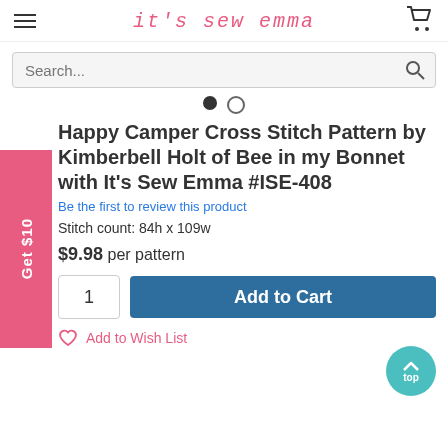it's sew emma
Search...
Happy Camper Cross Stitch Pattern by Kimberbell Holt of Bee in my Bonnet with It's Sew Emma #ISE-408
Be the first to review this product
Stitch count: 84h x 109w
$9.98 per pattern
1
Add to Cart
Add to Wish List
Get $10